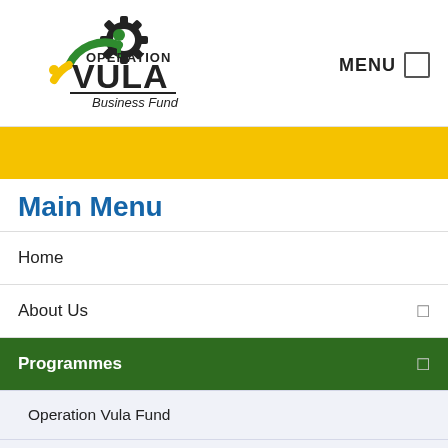[Figure (logo): Operation Vula Business Fund logo with colorful gear and figure icon]
MENU
Main Menu
Home
About Us
Programmes
Operation Vula Fund
Black Industrialists
Youth Business Development Fund
Bulk Buying